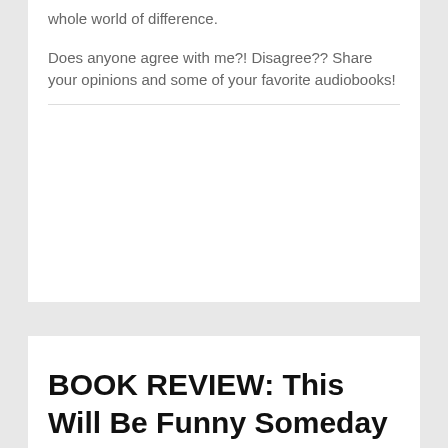whole world of difference.
Does anyone agree with me?! Disagree?? Share your opinions and some of your favorite audiobooks!
BOOK REVIEW: This Will Be Funny Someday by Katie Henry